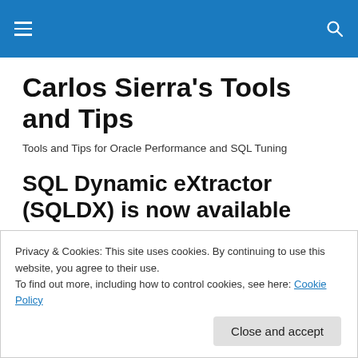Carlos Sierra's Tools and Tips
Carlos Sierra's Tools and Tips
Tools and Tips for Oracle Performance and SQL Tuning
SQL Dynamic eXtractor (SQLDX) is now available
Privacy & Cookies: This site uses cookies. By continuing to use this website, you agree to their use.
To find out more, including how to control cookies, see here: Cookie Policy
Close and accept